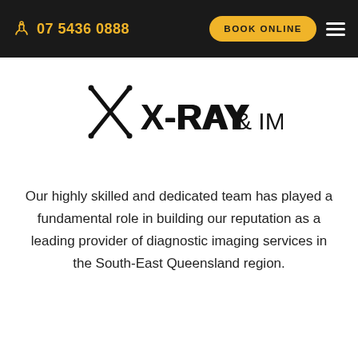07 5436 0888  BOOK ONLINE
[Figure (logo): X-RAY & IMAGING logo with crossed x-ray beams graphic]
Our highly skilled and dedicated team has played a fundamental role in building our reputation as a leading provider of diagnostic imaging services in the South-East Queensland region.